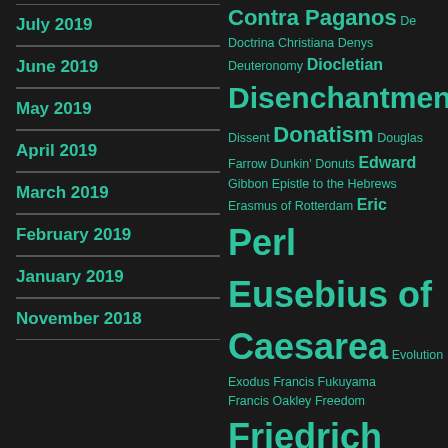July 2019
June 2019
May 2019
April 2019
March 2019
February 2019
January 2019
November 2018
Contra Paganos De Doctrina Christiana Denys Deuteronomy Diocletian Disenchantment Dissent Donatism Douglas Farrow Dunkin' Donuts Edward Gibbon Epistle to the Hebrews Erasmus of Rotterdam Eric Perl Eusebius of Caesarea Evolution Exodus Francis Fukuyama Francis Oakley Freedom Friedrich Nietzsche Friedrich Schleiermacher Fyodor Dostoyevsky